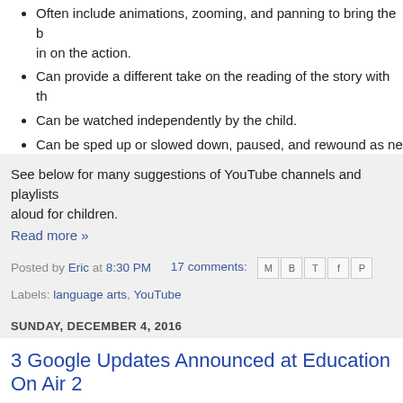Often include animations, zooming, and panning to bring the b... in on the action.
Can provide a different take on the reading of the story with th...
Can be watched independently by the child.
Can be sped up or slowed down, paused, and rewound as ne...
See below for many suggestions of YouTube channels and playlists... aloud for children.
Read more »
Posted by Eric at 8:30 PM   17 comments:
Labels: language arts, YouTube
SUNDAY, DECEMBER 4, 2016
3 Google Updates Announced at Education On Air 2...
Christmas came a little early for attendees of Google's 2016 Education On Air virtual conference.